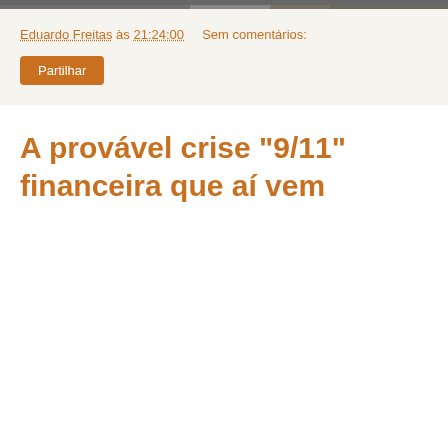[Figure (photo): Partial photo strip at top of page showing a person in a suit, cropped to a narrow horizontal band]
Eduardo Freitas às 21:24:00    Sem comentários:
Partilhar
A provável crise "9/11" financeira que aí vem